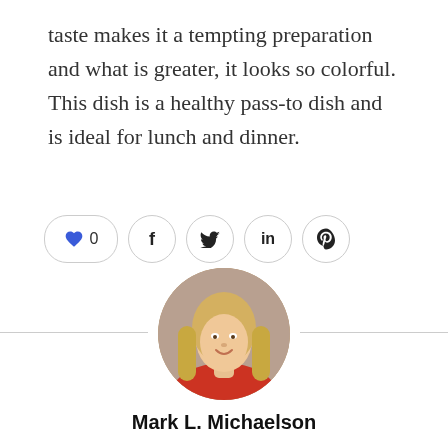taste makes it a tempting preparation and what is greater, it looks so colorful. This dish is a healthy pass-to dish and is ideal for lunch and dinner.
[Figure (illustration): Social sharing buttons: heart with count 0, Facebook (f), Twitter (bird), LinkedIn (in), Pinterest (p)]
[Figure (photo): Circular profile photo of a blonde woman smiling, wearing a red top]
Mark L. Michaelson